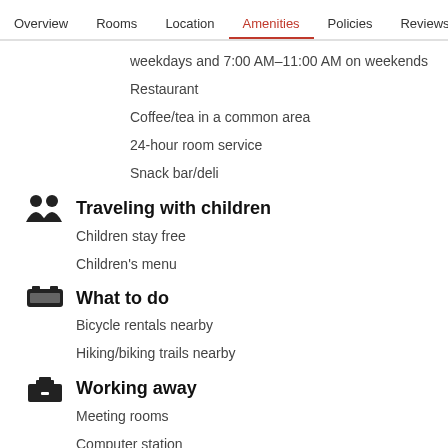Overview  Rooms  Location  Amenities  Policies  Reviews
weekdays and 7:00 AM–11:00 AM on weekends
Restaurant
Coffee/tea in a common area
24-hour room service
Snack bar/deli
Traveling with children
Children stay free
Children's menu
What to do
Bicycle rentals nearby
Hiking/biking trails nearby
Working away
Meeting rooms
Computer station